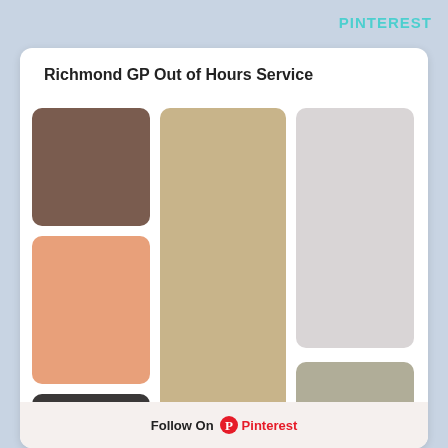PINTEREST
Richmond GP Out of Hours Service
[Figure (infographic): Color palette swatches arranged in a Pinterest-style board layout. Six colored rectangles: brown (top-left), peach/salmon (middle-left), dark charcoal (bottom-left), tan/beige (tall center column), light gray (top-right), and sage/khaki (bottom-right).]
Follow On Pinterest